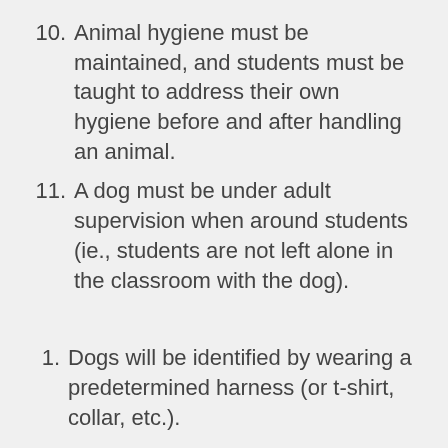10. Animal hygiene must be maintained, and students must be taught to address their own hygiene before and after handling an animal.
11. A dog must be under adult supervision when around students (ie., students are not left alone in the classroom with the dog).
1. Dogs will be identified by wearing a predetermined harness (or t-shirt, collar, etc.).
2. Any room with a dog inside must have signage posted outside the room (eg., “Grace is working in the room today.”), so